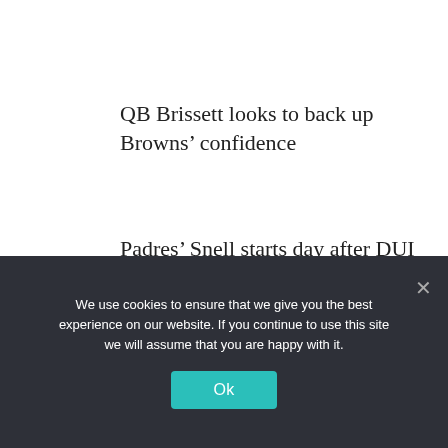QB Brissett looks to back up Browns’ confidence
Padres’ Snell starts day after DUI suspect hits car
Astros’ Triple-A affiliate goes off in 17-run inning
We use cookies to ensure that we give you the best experience on our website. If you continue to use this site we will assume that you are happy with it.